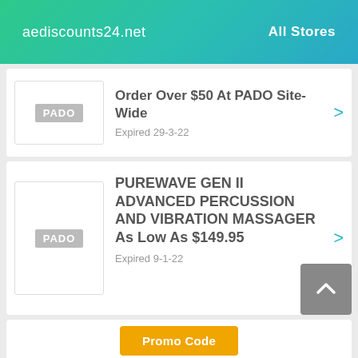aediscounts24.net   All Stores
Order Over $50 At PADO Site-Wide
Expired 29-3-22
PUREWAVE GEN II ADVANCED PERCUSSION AND VIBRATION MASSAGER As Low As $149.95
Expired 9-1-22
Promo Code